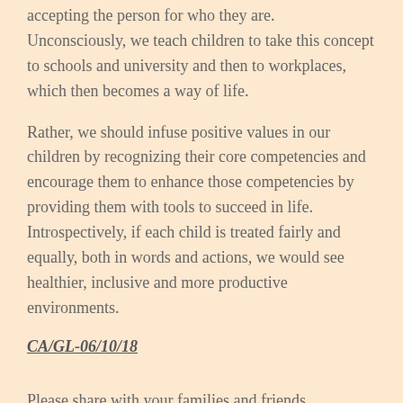accepting the person for who they are. Unconsciously, we teach children to take this concept to schools and university and then to workplaces, which then becomes a way of life.
Rather, we should infuse positive values in our children by recognizing their core competencies and encourage them to enhance those competencies by providing them with tools to succeed in life. Introspectively, if each child is treated fairly and equally, both in words and actions, we would see healthier, inclusive and more productive environments.
CA/GL-06/10/18
Please share with your families and friends